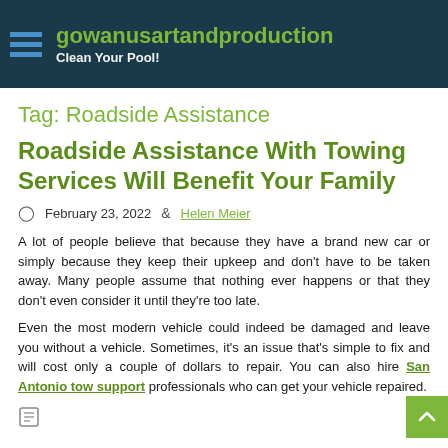gowanusartandproduction — Clean Your Pool!
Tag: Roadside Assistance
Roadside Assistance With Towing Services Will Benefit Your Family
February 23, 2022  Helen Meier
A lot of people believe that because they have a brand new car or simply because they keep their upkeep and don't have to be taken away. Many people assume that nothing ever happens or that they don't even consider it until they're too late.
Even the most modern vehicle could indeed be damaged and leave you without a vehicle. Sometimes, it's an issue that's simple to fix and will cost only a couple of dollars to repair. You can also hire San Antonio tow support professionals who can get your vehicle repaired.